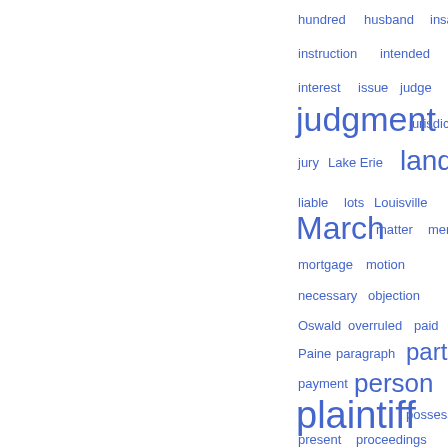[Figure (infographic): Word cloud of legal index terms with varying font sizes indicating frequency. Terms include: hundred, husband, insanity, instruction, intended, interest, issue, judge, judgment, jurisdiction, jury, Lake Erie, land, liable, lots, Louisville, March, matter, ment, mortgage, motion, necessary, objection, Oswald, overruled, paid, Paine, paragraph, parties, payment, person, plaintiff, possession, present, proceedings, proper, prove, purchase, question, railroad company, real estate, reason, received, record. Larger words include: judgment, land, March, parties, person, plaintiff, question.]